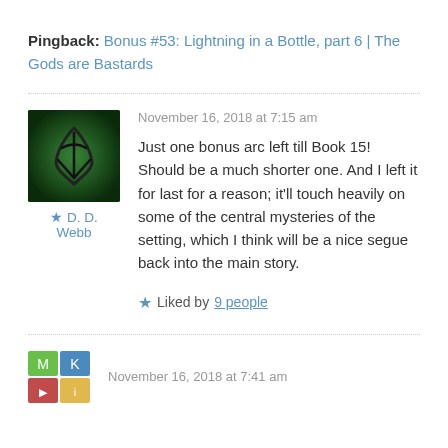Pingback: Bonus #53: Lightning in a Bottle, part 6 | The Gods are Bastards
November 16, 2018 at 7:15 am
[Figure (illustration): Green avatar with a stylized symbol on dark green background]
★ D. D. Webb
Just one bonus arc left till Book 15! Should be a much shorter one. And I left it for last for a reason; it'll touch heavily on some of the central mysteries of the setting, which I think will be a nice segue back into the main story.
★ Liked by 9 people
November 16, 2018 at 7:41 am
[Figure (logo): Small colorful avatar icon at bottom left]